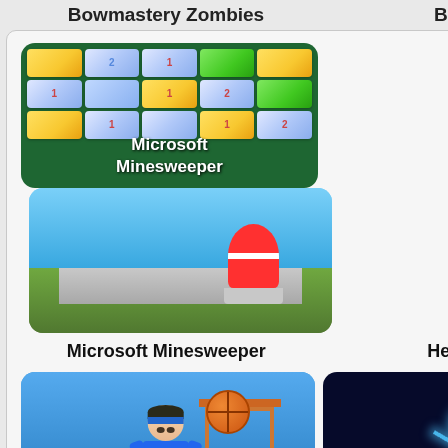Bowmastery Zombies
Bowling S
[Figure (screenshot): Microsoft Minesweeper game thumbnail showing colored tiles on green background with game title overlay]
[Figure (screenshot): Helicopter game thumbnail showing outdoor scene with red and white cone object]
Microsoft Minesweeper
Helicopte
[Figure (screenshot): Basketball Beans game thumbnail showing cartoon basketball player in blue jersey #10 dunking ball]
[Figure (screenshot): Stickman game thumbnail showing glowing blue stickman figure on dark background]
Basketball Beans
Stickma